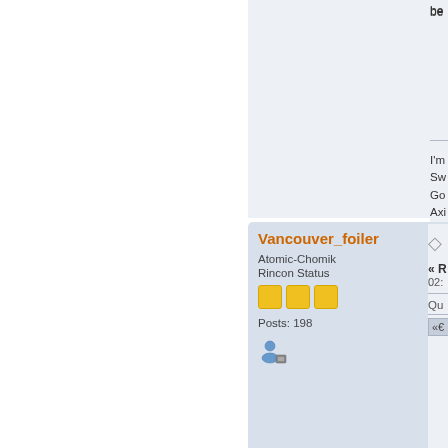[Figure (screenshot): Forum post page screenshot showing a user profile card for Vancouver_foiler (Atomic-Chomik, Rincon Status, Posts: 198) and partial post content on the right side with truncated text lines beginning with 'be', 'I'm', 'Sw', 'Go', 'Axi', 'Go', 'Tak', '[Du' and a reply section with timestamp '02:' and 'Qu' label]